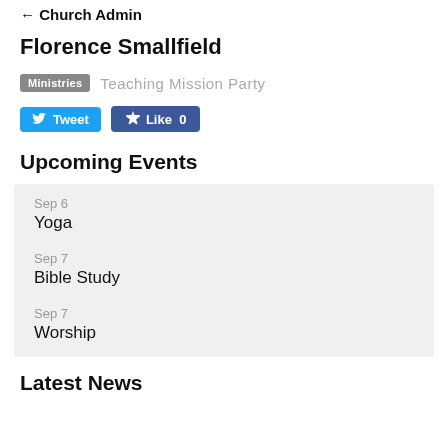← Church Admin
Florence Smallfield
Ministries  Teaching Mission Party
[Figure (other): Social sharing buttons: Tweet (Twitter) and Like 0 (Facebook)]
Upcoming Events
Sep 6 — Yoga
Sep 7 — Bible Study
Sep 7 — Worship
Latest News